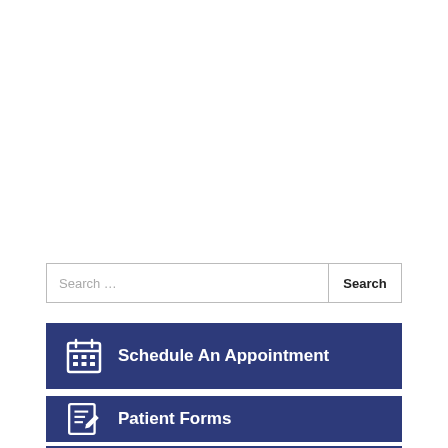Search …
Schedule An Appointment
Patient Forms
Contact Lens Store